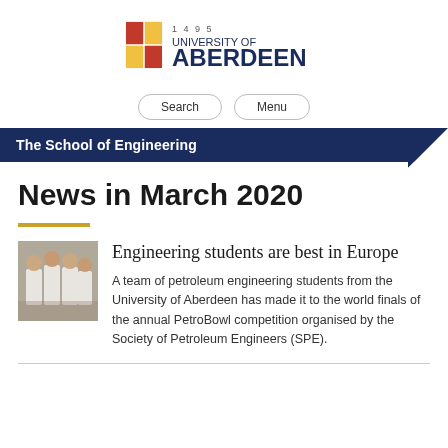[Figure (logo): University of Aberdeen crest logo with text '1495 UNIVERSITY OF ABERDEEN' in navy blue]
Search   Menu
The School of Engineering
News in March 2020
[Figure (photo): Group photo of engineering students in white shirts]
Engineering students are best in Europe
A team of petroleum engineering students from the University of Aberdeen has made it to the world finals of the annual PetroBowl competition organised by the Society of Petroleum Engineers (SPE).